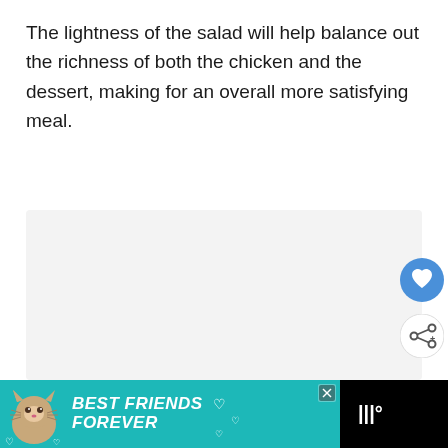The lightness of the salad will help balance out the richness of both the chicken and the dessert, making for an overall more satisfying meal.
[Figure (other): Light gray placeholder image area with a heart/like button (blue circle with white heart icon) and a share button (white circle with share icon) on the right side.]
[Figure (other): Advertisement banner at the bottom: teal background with a cat illustration and text 'BEST FRIENDS FOREVER' in white bold italic, with heart decorations. Black section on the right shows a music streaming logo.]